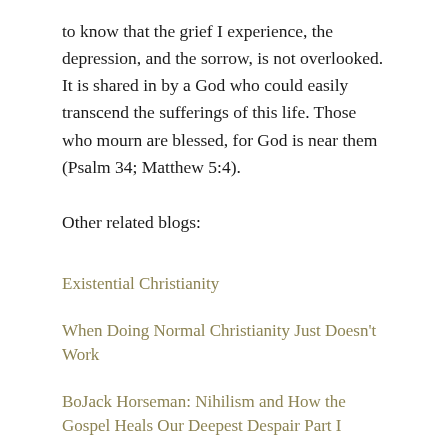to know that the grief I experience, the depression, and the sorrow, is not overlooked. It is shared in by a God who could easily transcend the sufferings of this life. Those who mourn are blessed, for God is near them (Psalm 34; Matthew 5:4).
Other related blogs:
Existential Christianity
When Doing Normal Christianity Just Doesn't Work
BoJack Horseman: Nihilism and How the Gospel Heals Our Deepest Despair Part I